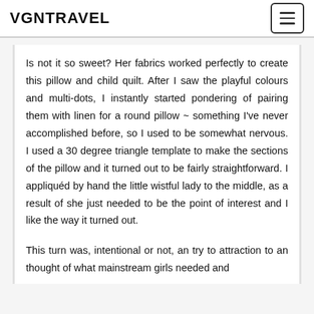VGNTRAVEL
Is not it so sweet? Her fabrics worked perfectly to create this pillow and child quilt. After I saw the playful colours and multi-dots, I instantly started pondering of pairing them with linen for a round pillow ~ something I've never accomplished before, so I used to be somewhat nervous. I used a 30 degree triangle template to make the sections of the pillow and it turned out to be fairly straightforward. I appliquéd by hand the little wistful lady to the middle, as a result of she just needed to be the point of interest and I like the way it turned out.
This turn was, intentional or not, an try to attraction to an thought of what mainstream girls needed and...